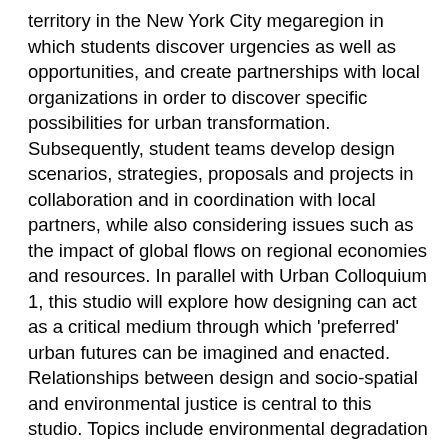territory in the New York City megaregion in which students discover urgencies as well as opportunities, and create partnerships with local organizations in order to discover specific possibilities for urban transformation. Subsequently, student teams develop design scenarios, strategies, proposals and projects in collaboration and in coordination with local partners, while also considering issues such as the impact of global flows on regional economies and resources. In parallel with Urban Colloquium 1, this studio will explore how designing can act as a critical medium through which 'preferred' urban futures can be imagined and enacted. Relationships between design and socio-spatial and environmental justice is central to this studio. Topics include environmental degradation and remediation, public space, public health, urban agriculture, urban food systems, public transportation, urban mobilities, and others.
Open to: MS in Design and Urban Ecologies graduate students only; others by permission of MS in Design and